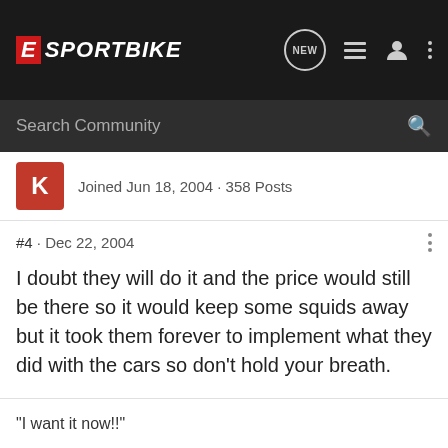E SPORTBIKE
Search Community
Joined Jun 18, 2004 · 358 Posts
#4 · Dec 22, 2004
I doubt they will do it and the price would still be there so it would keep some squids away but it took them forever to implement what they did with the cars so don't hold your breath.
"I want it now!!"